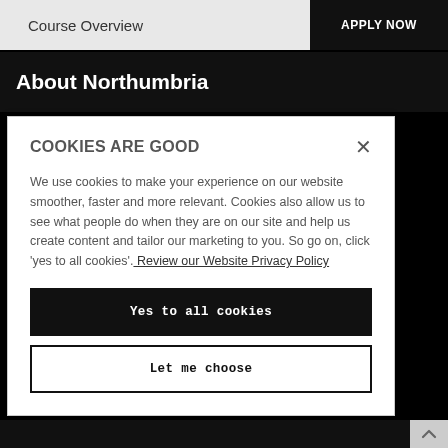Course Overview
APPLY NOW
About Northumbria
COOKIES ARE GOOD
We use cookies to make your experience on our website smoother, faster and more relevant. Cookies also allow us to see what people do when they are on our site and help us create content and tailor our marketing to you. So go on, click 'yes to all cookies'. Review our Website Privacy Policy
Yes to all cookies
Let me choose